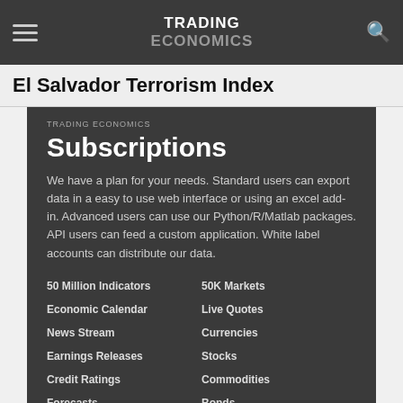TRADING ECONOMICS
El Salvador Terrorism Index
TRADING ECONOMICS
Subscriptions
We have a plan for your needs. Standard users can export data in a easy to use web interface or using an excel add-in. Advanced users can use our Python/R/Matlab packages. API users can feed a custom application. White label accounts can distribute our data.
50 Million Indicators
50K Markets
Economic Calendar
Live Quotes
News Stream
Currencies
Earnings Releases
Stocks
Credit Ratings
Commodities
Forecasts
Bonds